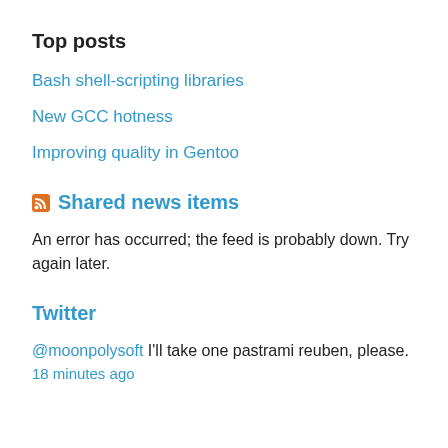Top posts
Bash shell-scripting libraries
New GCC hotness
Improving quality in Gentoo
Shared news items
An error has occurred; the feed is probably down. Try again later.
Twitter
@moonpolysoft I'll take one pastrami reuben, please. 18 minutes ago